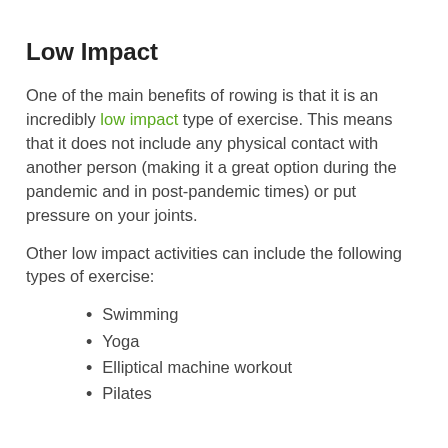Low Impact
One of the main benefits of rowing is that it is an incredibly low impact type of exercise. This means that it does not include any physical contact with another person (making it a great option during the pandemic and in post-pandemic times) or put pressure on your joints.
Other low impact activities can include the following types of exercise:
Swimming
Yoga
Elliptical machine workout
Pilates